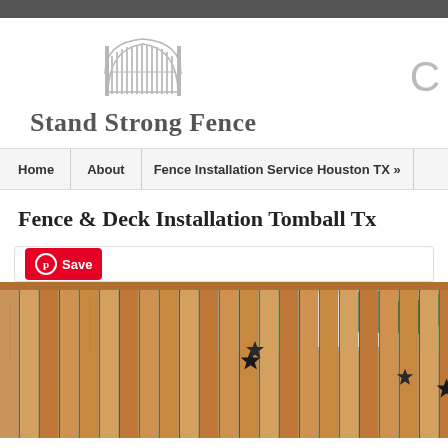[Figure (logo): Stand Strong Fence company logo with decorative fence/gate graphic above the company name]
Home  |  About  |  Fence Installation Service Houston TX »
Fence & Deck Installation Tomball Tx
[Figure (screenshot): Pinterest Save button widget]
[Figure (photo): Wooden privacy fence with decorative star-shaped hardware, houses and trees visible in background]